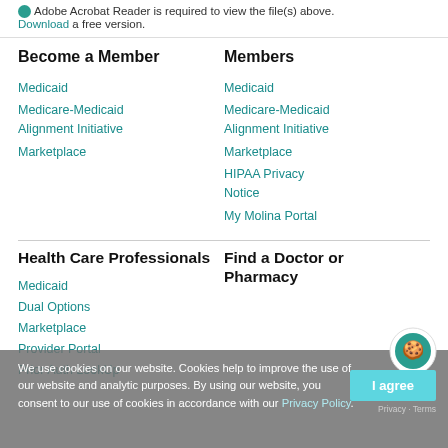Adobe Acrobat Reader is required to view the file(s) above. Download a free version.
Become a Member
Medicaid
Medicare-Medicaid Alignment Initiative
Marketplace
Members
Medicaid
Medicare-Medicaid Alignment Initiative
Marketplace
HIPAA Privacy Notice
My Molina Portal
Health Care Professionals
Medicaid
Dual Options
Marketplace
Provider Portal
Prior Auth LookUp
Find a Doctor or Pharmacy
We use cookies on our website. Cookies help to improve the use of our website and analytic purposes. By using our website, you consent to our use of cookies in accordance with our Privacy Policy.